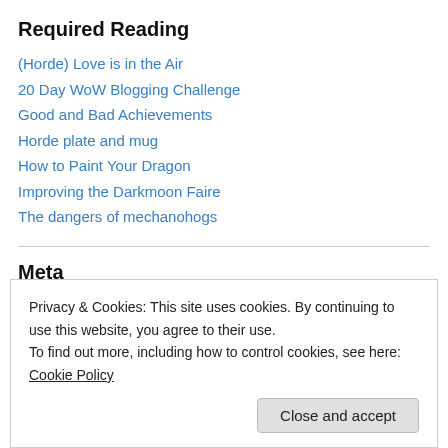Required Reading
(Horde) Love is in the Air
20 Day WoW Blogging Challenge
Good and Bad Achievements
Horde plate and mug
How to Paint Your Dragon
Improving the Darkmoon Faire
The dangers of mechanohogs
Meta
Privacy & Cookies: This site uses cookies. By continuing to use this website, you agree to their use. To find out more, including how to control cookies, see here: Cookie Policy
Close and accept